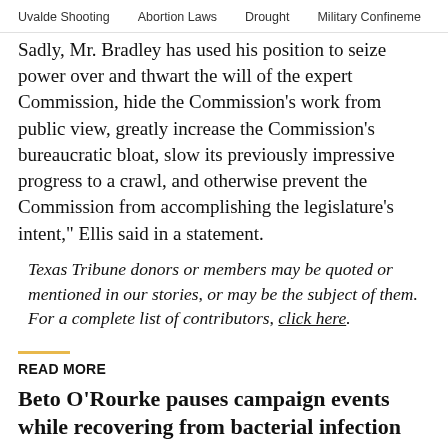Uvalde Shooting  Abortion Laws  Drought  Military Confinement
Sadly, Mr. Bradley has used his position to seize power over and thwart the will of the expert Commission, hide the Commission's work from public view, greatly increase the Commission's bureaucratic bloat, slow its previously impressive progress to a crawl, and otherwise prevent the Commission from accomplishing the legislature's intent," Ellis said in a statement.
Texas Tribune donors or members may be quoted or mentioned in our stories, or may be the subject of them. For a complete list of contributors, click here.
READ MORE
Beto O'Rourke pauses campaign events while recovering from bacterial infection